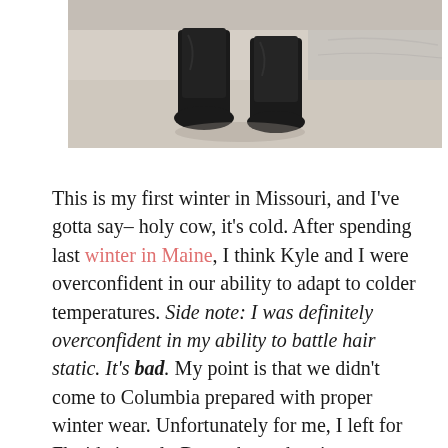[Figure (photo): Bottom portion of a person wearing black boots standing on a sandy/snowy beach surface, cropped to show only legs from knees down]
This is my first winter in Missouri, and I've gotta say– holy cow, it's cold. After spending last winter in Maine, I think Kyle and I were overconfident in our ability to adapt to colder temperatures. Side note: I was definitely overconfident in my ability to battle hair static. It's bad. My point is that we didn't come to Columbia prepared with proper winter wear. Unfortunately for me, I left for Florida in early December, when it was a pleasant 50-60 degrees. Now it's in the negatives, and I spent way more than expected on Christmas gifts. To cope with the cold without going into debt, I started researching cheap winter coats online. I took a risk on this affordable